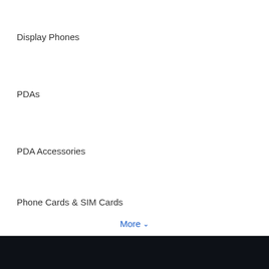Display Phones
PDAs
PDA Accessories
Phone Cards & SIM Cards
More ∨
Home